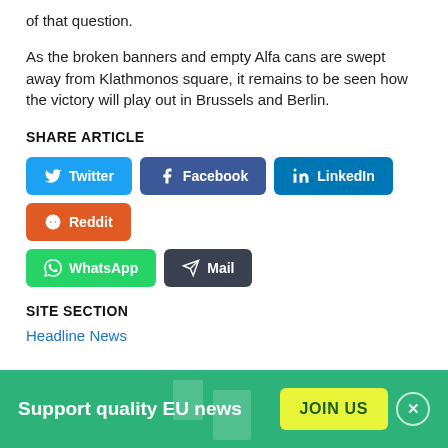of that question.
As the broken banners and empty Alfa cans are swept away from Klathmonos square, it remains to be seen how the victory will play out in Brussels and Berlin.
SHARE ARTICLE
[Figure (infographic): Social share buttons: Twitter, Facebook, LinkedIn, Reddit, WhatsApp, Mail]
SITE SECTION
Headline News
[Figure (infographic): Green banner: Support quality EU news with JOIN US button and close button]